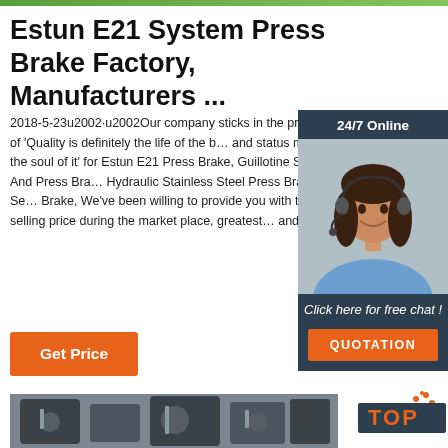[Figure (other): Top decorative green banner bar]
Estun E21 System Press Brake Factory, Manufacturers ...
2018-5-23u2002·u2002Our company sticks in the principle of 'Quality is definitely the life of the business, and status may be the soul of it' for Estun E21 System Press Brake, Guillotine Shears And Press Brake, Hydraulic Stainless Steel Press Brake, Cnc Servo Press Brake, We've been willing to provide you with the best selling price during the market place, greatest high quality and quite ...
[Figure (photo): 24/7 Online customer service chat widget showing a female agent wearing headset, with 'Click here for free chat!' text and QUOTATION button]
[Figure (other): Get Price orange button]
[Figure (photo): Industrial press brake machine components photograph, grayscale]
[Figure (logo): TOP logo in orange and grey with gear/star decoration]